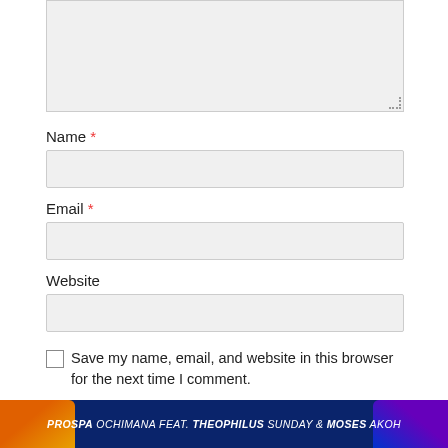[Figure (screenshot): Comment form textarea (top, partially visible, gray background with resize handle)]
Name *
[Figure (screenshot): Name input field, gray background, rounded border]
Email *
[Figure (screenshot): Email input field, gray background, rounded border]
Website
[Figure (screenshot): Website input field, gray background, rounded border]
Save my name, email, and website in this browser for the next time I comment.
[Figure (screenshot): POST COMMENT button, bright blue/cyan background, white uppercase text]
[Figure (photo): Banner image: dark blue background with text 'PROSPA OCHIMANA FEAT. THEOPHILUS SUNDAY & MOSES AKOH' in bold italic white/yellow letters, with orange and purple gradient shapes on sides]